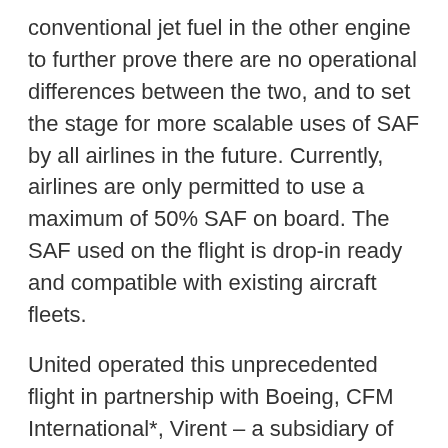conventional jet fuel in the other engine to further prove there are no operational differences between the two, and to set the stage for more scalable uses of SAF by all airlines in the future. Currently, airlines are only permitted to use a maximum of 50% SAF on board. The SAF used on the flight is drop-in ready and compatible with existing aircraft fleets.
United operated this unprecedented flight in partnership with Boeing, CFM International*, Virent – a subsidiary of Marathon – whose technology enables 100% drop-in SAF, and World Energy – the world's first, and North America's only commercial SAF producer. United's, Scott Kirby, was joined by executives from each of those companies on the flight along with other business leaders, government officials, NGOs, and members of the media.
"Boeing is proud to support United on this historic event